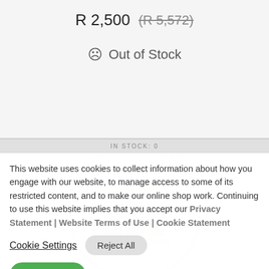R 2,500  (R 5,572)
☹ Out of Stock
IN STOCK: 0
This website uses cookies to collect information about how you engage with our website, to manage access to some of its restricted content, and to make our online shop work. Continuing to use this website implies that you accept our Privacy Statement | Website Terms of Use | Cookie Statement
Cookie Settings
Reject All
Accept All